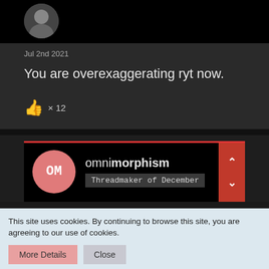[Figure (photo): Partial avatar photo of a person, cropped circular image on black background]
Jul 2nd 2021
You are overexaggerating ryt now.
👍 × 12
[Figure (screenshot): Profile card for user 'omnimorphism' with badge 'Threadmaker of December', pink circular avatar with 'OM' text, red top border, navigation arrows on right]
This site uses cookies. By continuing to browse this site, you are agreeing to our use of cookies.
More Details   Close